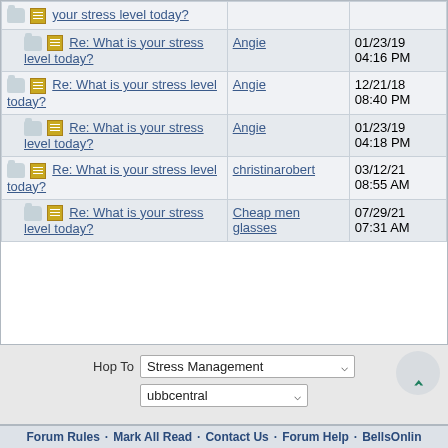| Topic | Author | Date/Time |
| --- | --- | --- |
| your stress level today? |  |  |
|   Re: What is your stress level today? | Angie | 01/23/19 04:16 PM |
| Re: What is your stress level today? | Angie | 12/21/18 08:40 PM |
|   Re: What is your stress level today? | Angie | 01/23/19 04:18 PM |
| Re: What is your stress level today? | christinarobert | 03/12/21 08:55 AM |
|   Re: What is your stress level today? | Cheap men glasses | 07/29/21 07:31 AM |
Hop To   Stress Management
ubbcentral
Forum Rules · Mark All Read · Contact Us · Forum Help · BellsOnline